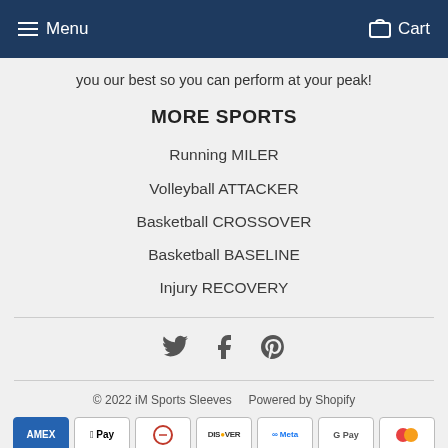Menu   Cart
you our best so you can perform at your peak!
MORE SPORTS
Running MILER
Volleyball ATTACKER
Basketball CROSSOVER
Basketball BASELINE
Injury RECOVERY
[Figure (other): Social media icons: Twitter, Facebook, Pinterest]
© 2022 iM Sports Sleeves   Powered by Shopify
[Figure (other): Payment method badges: Amex, Apple Pay, Diners, Discover, Meta, Google Pay, Mastercard, PayPal, Shop Pay, Venmo, Visa]